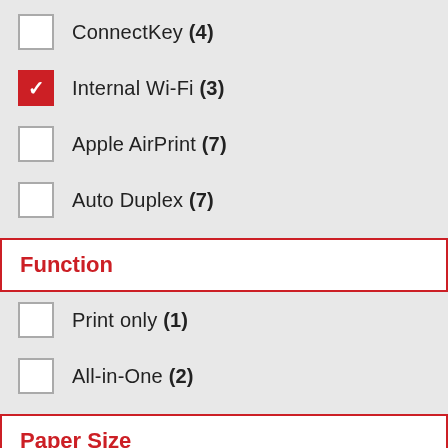ConnectKey (4)
Internal Wi-Fi (3)
Apple AirPrint (7)
Auto Duplex (7)
Function
Print only (1)
All-in-One (2)
Paper Size
Letter/Legal (2)